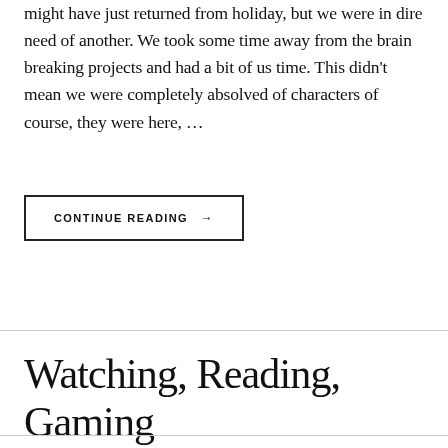might have just returned from holiday, but we were in dire need of another. We took some time away from the brain breaking projects and had a bit of us time. This didn't mean we were completely absolved of characters of course, they were here, …
CONTINUE READING →
Watching, Reading, Gaming